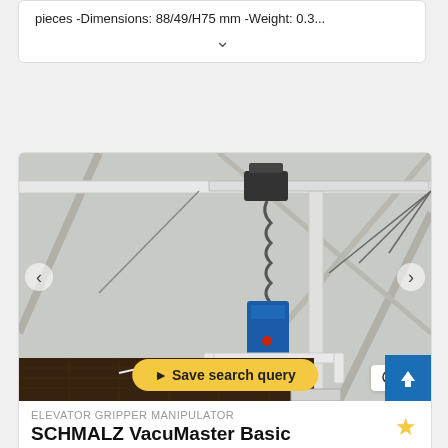pieces -Dimensions: 88/49/H75 mm -Weight: 0.3...
[Figure (photo): Photo of a Schmalz VacuMaster Basic elevator gripper manipulator mounted on an overhead rail system inside an industrial or warehouse space. The device has a blue control unit with a coiled cable/hose hanging down, and a white gripper arm at the bottom. The overhead frame is made of aluminum extrusions with diagonal cable supports.]
Save search query
6
ELEVATOR GRIPPER MANIPULATOR
SCHMALZ VacuMaster Basic